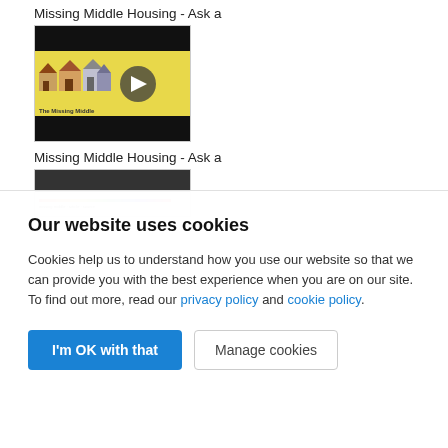Missing Middle Housing - Ask a
[Figure (screenshot): Video thumbnail showing 'The Missing Middle' animation with yellow background, cartoon houses, and a play button overlay. Black bars at top and bottom.]
Missing Middle Housing - Ask a
[Figure (screenshot): Partially visible thumbnail with dark bar at top and colorful horizontal lines below, partially cut off.]
Our website uses cookies
Cookies help us to understand how you use our website so that we can provide you with the best experience when you are on our site. To find out more, read our privacy policy and cookie policy.
I'm OK with that
Manage cookies